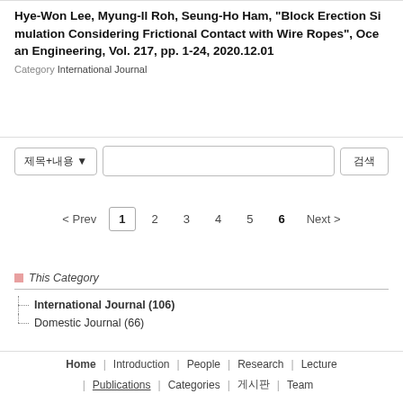Hye-Won Lee, Myung-Il Roh, Seung-Ho Ham, "Block Erection Simulation Considering Frictional Contact with Wire Ropes", Ocean Engineering, Vol. 217, pp. 1-24, 2020.12.01
Category International Journal
제목+내용 ▾   [search input]   검색
< Prev   1   2   3   4   5   6   Next >
This Category
International Journal (106)
Domestic Journal (66)
Home | Introduction | People | Research | Lecture | Publications | Categories | 게시판 | Team…